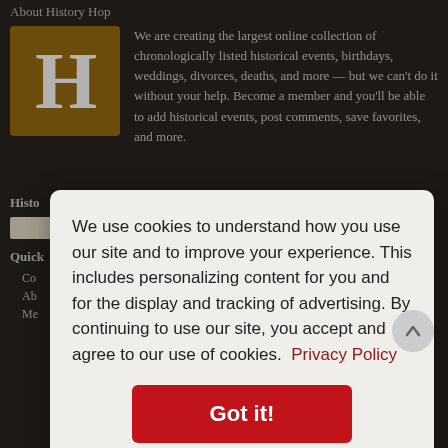About History Hop
[Figure (logo): Gold/brown square logo with large white letter H]
We are creating the largest online collection of chronologically listed historical events, birthdays, weddings, divorces, deaths, and more — but we can't do it without your help. Become a member and you'll be able to add historical events, post comments, save favorites, and more.
Histo
Quick
Co
Ab
Me
We use cookies to understand how you use our site and to improve your experience. This includes personalizing content for you and for the display and tracking of advertising. By continuing to use our site, you accept and agree to our use of cookies.  Privacy Policy
Got it!
Forgot My Username